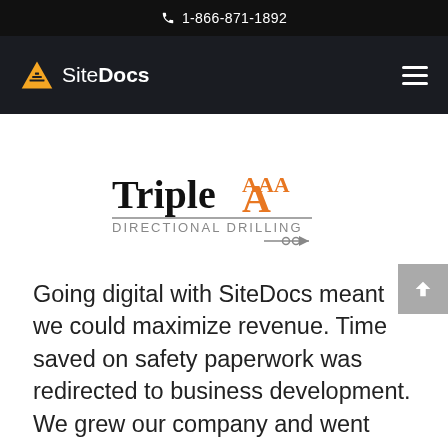1-866-871-1892
[Figure (logo): SiteDocs logo with yellow triangle icon and 'SiteDocs' text in white on dark background, plus hamburger menu icon]
[Figure (logo): Triple AAA Directional Drilling logo — 'Triple' in black bold serif, 'AAA' in orange, 'DIRECTIONAL DRILLING' in grey with drilling bit arrow graphic]
Going digital with SiteDocs meant we could maximize revenue. Time saved on safety paperwork was redirected to business development. We grew our company and went